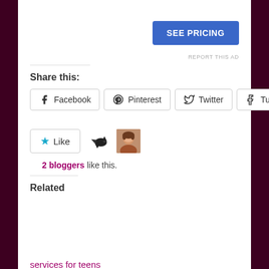[Figure (screenshot): SEE PRICING blue button advertisement area]
REPORT THIS AD
Share this:
Facebook  Pinterest  Twitter  Tumblr (share buttons)
[Figure (other): Like button with star icon, blogger avatar icons]
2 bloggers like this.
Related
Privacy & Cookies: This site uses cookies. By continuing to use this website, you agree to their use.
To find out more, including how to control cookies, see here: Cookie Policy
Close and accept
services for teens